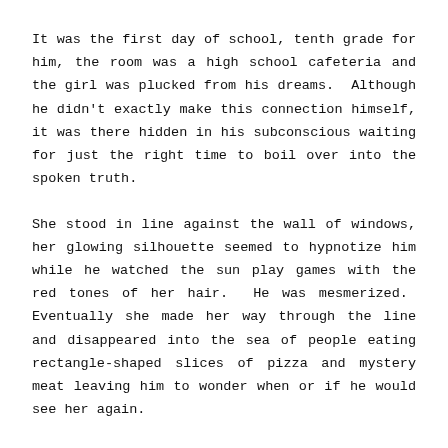It was the first day of school, tenth grade for him, the room was a high school cafeteria and the girl was plucked from his dreams. Although he didn't exactly make this connection himself, it was there hidden in his subconscious waiting for just the right time to boil over into the spoken truth.
She stood in line against the wall of windows, her glowing silhouette seemed to hypnotize him while he watched the sun play games with the red tones of her hair. He was mesmerized. Eventually she made her way through the line and disappeared into the sea of people eating rectangle-shaped slices of pizza and mystery meat leaving him to wonder when or if he would see her again.